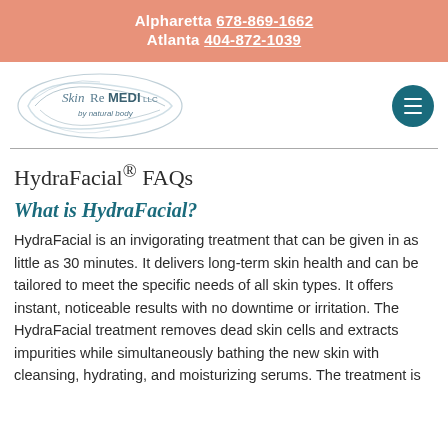Alpharetta 678-869-1662
Atlanta 404-872-1039
[Figure (logo): SkinReMEDI LLC by natural body logo — oval swirl design in blue-grey with text]
HydraFacial® FAQs
What is HydraFacial?
HydraFacial is an invigorating treatment that can be given in as little as 30 minutes. It delivers long-term skin health and can be tailored to meet the specific needs of all skin types. It offers instant, noticeable results with no downtime or irritation. The HydraFacial treatment removes dead skin cells and extracts impurities while simultaneously bathing the new skin with cleansing, hydrating, and moisturizing serums. The treatment is...